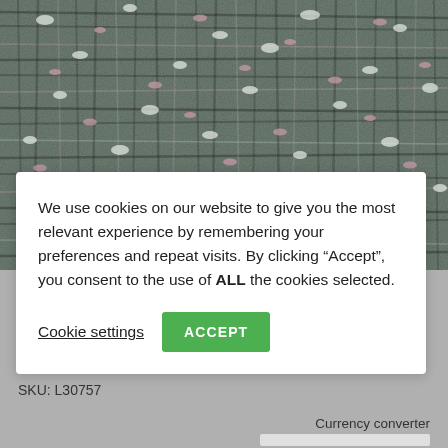[Figure (photo): Close-up photo of a textured couture fabric with pink, pale blue, green, and black woven threads creating a boucle-style texture.]
We use cookies on our website to give you the most relevant experience by remembering your preferences and repeat visits. By clicking “Accept”, you consent to the use of ALL the cookies selected.
Cookie settings
ACCEPT
L30757 – Pink Pale Blue and Green Textured Couture Fabric
SKU: L30757
Currency converter